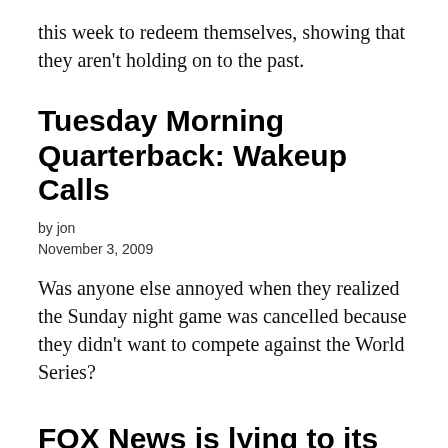this week to redeem themselves, showing that they aren't holding on to the past.
Tuesday Morning Quarterback: Wakeup Calls
by jon
November 3, 2009
Was anyone else annoyed when they realized the Sunday night game was cancelled because they didn't want to compete against the World Series?
FOX News is lying to its viewers
by jon